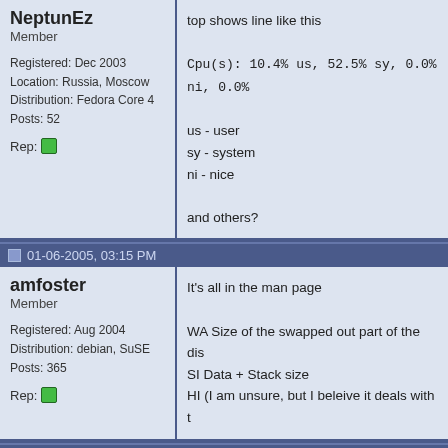NeptunEz
Member
Registered: Dec 2003
Location: Russia, Moscow
Distribution: Fedora Core 4
Posts: 52
Rep:
top shows line like this
Cpu(s): 10.4% us, 52.5% sy, 0.0% ni, 0.0%
us - user
sy - system
ni - nice
and others?
01-06-2005, 03:15 PM
amfoster
Member
Registered: Aug 2004
Distribution: debian, SuSE
Posts: 365
Rep:
It's all in the man page
WA Size of the swapped out part of the dis
SI Data + Stack size
HI (I am unsure, but I beleive it deals with t
01-06-2005, 04:05 PM
NeptunEz
Member
Registered: Dec 2003
Location: Russia, Moscow
Distribution: Fedora Core 4
Posts: 52
Rep:
I suppose all these values are related to Cl
If you take a sum of all values - you'll get 1
There is notthing in man page